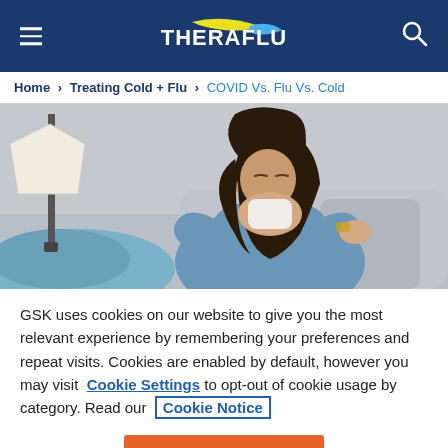Theraflu — Navigation header with menu icon, Theraflu logo, and search icon
Home > Treating Cold + Flu > COVID Vs. Flu Vs. Cold
[Figure (photo): A woman sitting on a couch blowing her nose into a tissue, wearing a blue long-sleeve shirt, with a lamp visible in the background.]
GSK uses cookies on our website to give you the most relevant experience by remembering your preferences and repeat visits. Cookies are enabled by default, however you may visit Cookie Settings to opt-out of cookie usage by category. Read our Cookie Notice
Dismiss